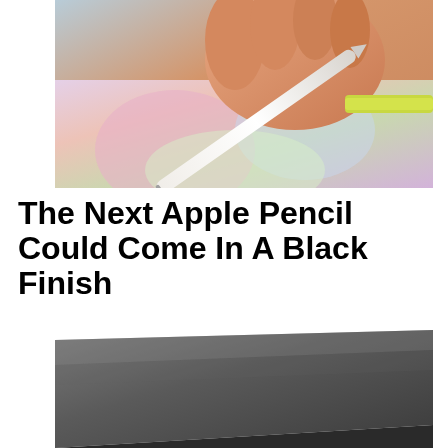[Figure (photo): Close-up photo of a hand holding a white Apple Pencil drawing on an iPad screen, with colorful artwork visible on the screen and a yellow wristband visible on the wrist.]
The Next Apple Pencil Could Come In A Black Finish
[Figure (photo): Close-up photo of a dark gray/space gray iPad or Apple device viewed from an angle, showing the flat surface and thin edge.]